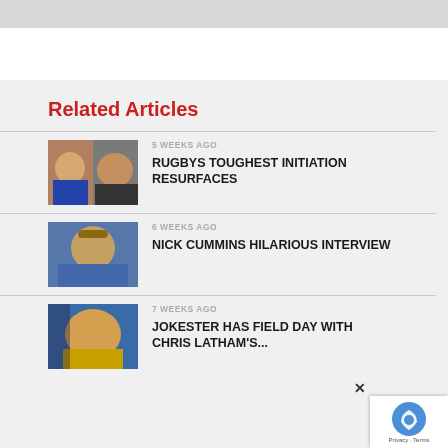Related Articles
5 WEEKS AGO — RUGBYS TOUGHEST INITIATION RESURFACES
6 WEEKS AGO — NICK CUMMINS HILARIOUS INTERVIEW
7 WEEKS AGO — JOKESTER HAS FIELD DAY WITH CHRIS LATHAM'S...